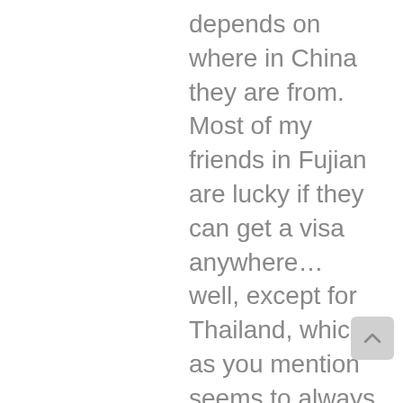depends on where in China they are from. Most of my friends in Fujian are lucky if they can get a visa anywhere… well, except for Thailand, which as you mention seems to always be easy to get
[Figure (other): Scroll-to-top button: a light grey rounded square with an upward-pointing chevron arrow]